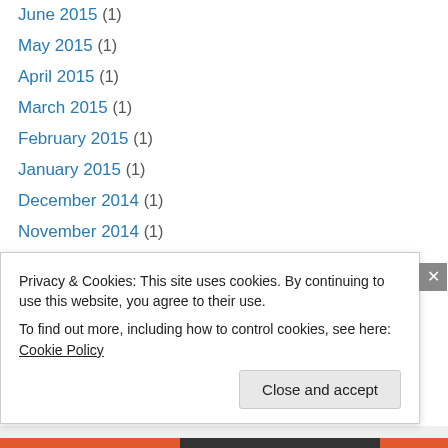June 2015 (1)
May 2015 (1)
April 2015 (1)
March 2015 (1)
February 2015 (1)
January 2015 (1)
December 2014 (1)
November 2014 (1)
October 2014 (1)
July 2014 (1)
June 2014 (1)
May 2014 (1)
April 2014 (1)
Privacy & Cookies: This site uses cookies. By continuing to use this website, you agree to their use. To find out more, including how to control cookies, see here: Cookie Policy
Close and accept